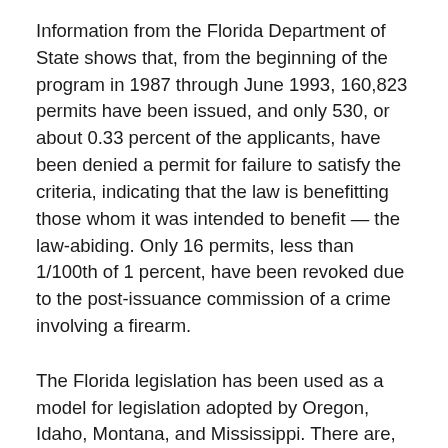Information from the Florida Department of State shows that, from the beginning of the program in 1987 through June 1993, 160,823 permits have been issued, and only 530, or about 0.33 percent of the applicants, have been denied a permit for failure to satisfy the criteria, indicating that the law is benefitting those whom it was intended to benefit — the law-abiding. Only 16 permits, less than 1/100th of 1 percent, have been revoked due to the post-issuance commission of a crime involving a firearm.
The Florida legislation has been used as a model for legislation adopted by Oregon, Idaho, Montana, and Mississippi. There are, in addition, seven other states (Maine, North and South Dakota, Utah, Washington, West Virginia, and, with the exception of cities with a population in excess of 1 million, Pennsylvania) which provide that concealed-carry permits must be issued to law-abiding citizens who satisfy various objective criteria. Finally, no permit is required at all in Vermont. Altogether, then, there